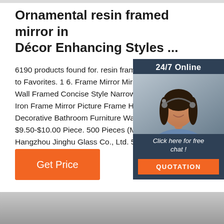Ornamental resin framed mirror in Décor Enhancing Styles ...
6190 products found for. resin framed to Favorites. 1 6. Frame Mirror Mirrors Wall Framed Concise Style Narrow Be Iron Frame Mirror Picture Frame Hom Decorative Bathroom Furniture Wall M $9.50-$10.00 Piece. 500 Pieces (Min. Hangzhou Jinghu Glass Co., Ltd. 5 ...
[Figure (photo): Customer service agent photo with 24/7 Online label, Click here for free chat text, and QUOTATION button on dark blue background sidebar panel]
[Figure (other): Orange Get Price button]
[Figure (logo): TOP logo with orange dots arranged in an arch above the word TOP in orange]
[Figure (photo): Bottom strip showing a grey/silver reflective surface, partial product image]